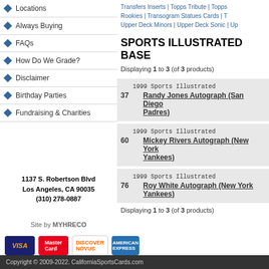Locations
Always Buying
FAQs
How Do We Grade?
Disclaimer
Birthday Parties
Fundraising & Charities
1137 S. Robertson Blvd
Los Angeles, CA 90035
(310) 278-0887
Site by MYHRECO
Transfers Inserts | Topps Tribute | Topps ... Rookies | Transogram Statues Cards | T... Upper Deck Minors | Upper Deck Sonic | Upp...
SPORTS ILLUSTRATED BASE...
Displaying 1 to 3 (of 3 products)
37
1999 Sports Illustrated
Randy Jones Autograph (San Diego Padres)
60
1999 Sports Illustrated
Mickey Rivers Autograph (New York Yankees)
76
1999 Sports Illustrated
Roy White Autograph (New York Yankees)
Displaying 1 to 3 (of 3 products)
[Figure (logo): Credit card logos: Visa, MasterCard, Discover, American Express]
Copyright © 2009-2022. CaliforniaSportsCards.com